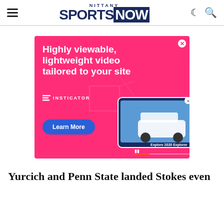Nittany Sports Now
[Figure (screenshot): Advertisement banner with hot pink background showing 'Highly viewable, lightweight video tailored to your site' text with Insticator branding, a Learn More button, and a device mockup showing a Ford Explorer video ad.]
Yurcich and Penn State landed Stokes even